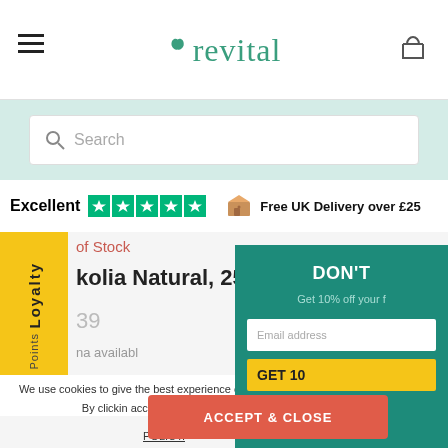[Figure (logo): Revital brand logo in teal green with a leaf icon]
[Figure (infographic): Search bar on light teal background]
Excellent  ★★★★★  Free UK Delivery over £25
of Stock
kolia Natural, 250ml
39
na availabl
[Figure (infographic): DON'T panel - teal popup with Get 10% off your first order, email input, and GET 10 button]
ACCEPT & CLOSE
We use cookies to give the best experience o provide personalized ads and content. By clickin accepts the use of Cookies on this site in accord
POLICY.